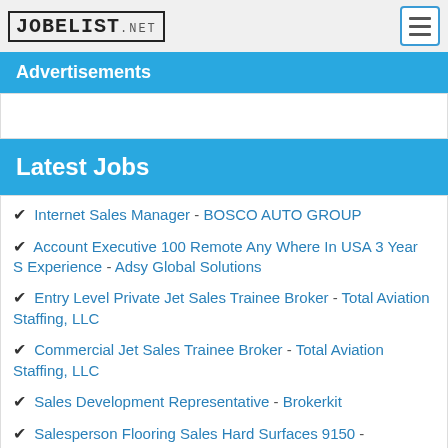JOBELIST.NET
Advertisements
Latest Jobs
Internet Sales Manager - BOSCO AUTO GROUP
Account Executive 100 Remote Any Where In USA 3 Year S Experience - Adsy Global Solutions
Entry Level Private Jet Sales Trainee Broker - Total Aviation Staffing, LLC
Commercial Jet Sales Trainee Broker - Total Aviation Staffing, LLC
Sales Development Representative - Brokerkit
Salesperson Flooring Sales Hard Surfaces 9150 - Nebraska Furniture Mart
Sales Representative Outside Sales - Black Multiverse